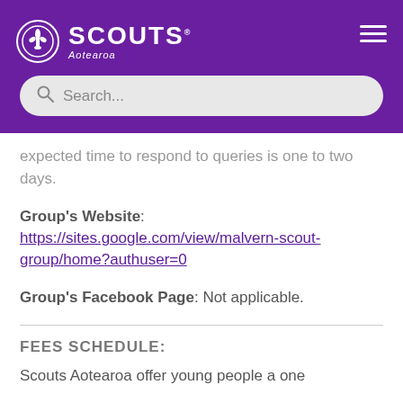[Figure (logo): Scouts Aotearoa logo with fleur-de-lis emblem in white circle, SCOUTS text and Aotearoa subtitle, on purple header background]
expected time to respond to queries is one to two days.
Group's Website: https://sites.google.com/view/malvern-scout-group/home?authuser=0
Group's Facebook Page: Not applicable.
FEES SCHEDULE:
Scouts Aotearoa offer young people a one